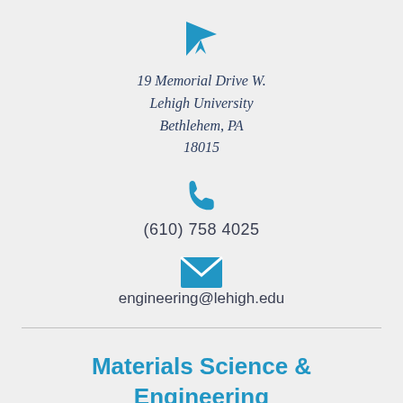[Figure (infographic): Blue location pin / navigation arrow icon]
19 Memorial Drive W.
Lehigh University
Bethlehem, PA
18015
[Figure (infographic): Blue telephone handset icon]
(610) 758 4025
[Figure (infographic): Blue envelope / email icon]
engineering@lehigh.edu
Materials Science & Engineering